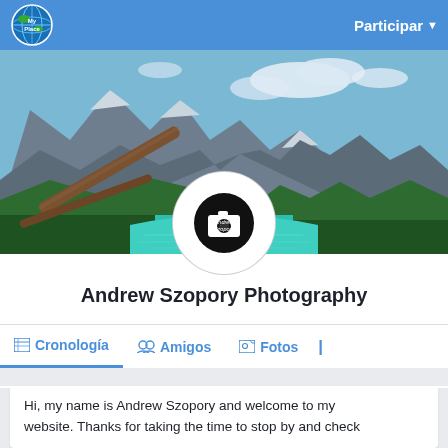Participar
[Figure (photo): Mountain landscape with turquoise glacial lake, snow-capped rocky peaks, green slopes, driftwood in foreground — cover photo for Andrew Szopory Photography]
[Figure (logo): Andrew Szopory Photography circular logo with camera icon]
Andrew Szopory Photography
Cronología   Amigos   Fotos
Hi, my name is Andrew Szopory and welcome to my website. Thanks for taking the time to stop by and check